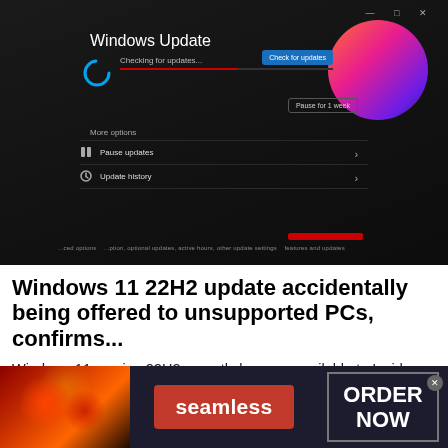[Figure (screenshot): Screenshot of a Windows 11 Windows Update screen on a dark laptop display, showing 'Windows Update', 'Checking for updates...', a circular sync icon in blue, a progress bar in red, 'More options', 'Pause updates', 'Update history' menu items, and a gradient circular graphic in orange/pink/purple on the right side.]
Windows 11 22H2 update accidentally being offered to unsupported PCs, confirms...
Windows 11 version 22H2 recently became available to Insiders in the Release Preview Channel. Unfortunately, a...
Windows Central
[Figure (photo): Advertisement banner for Seamless food delivery service, showing pizza on the left, a red 'seamless' badge in the center, and an 'ORDER NOW' button on dark background on the right.]